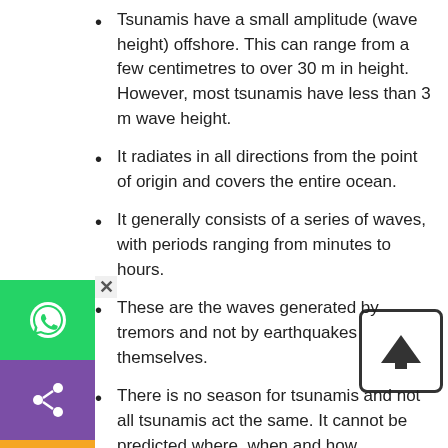Tsunamis have a small amplitude (wave height) offshore. This can range from a few centimetres to over 30 m in height. However, most tsunamis have less than 3 m wave height.
It radiates in all directions from the point of origin and covers the entire ocean.
It generally consists of a series of waves, with periods ranging from minutes to hours.
These are the waves generated by tremors and not by earthquakes themselves.
There is no season for tsunamis and not all tsunamis act the same. It cannot be predicted where, when and how destructive it will be. A small tsunami in one place may be very large a few miles away.
An individual tsunami may impact coasts differently. A tsunami can strike any ocean coast at any time. They pose a major threat to coastal communities. The effect of Tsunami would occur only if the epicentre of the tremor is below oceanic waters and the magnitude is sufficiently high.
The speed of the wave in the ocean depends upon the